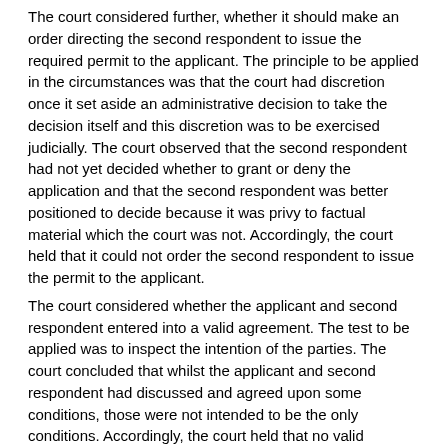The court considered further, whether it should make an order directing the second respondent to issue the required permit to the applicant. The principle to be applied in the circumstances was that the court had discretion once it set aside an administrative decision to take the decision itself and this discretion was to be exercised judicially. The court observed that the second respondent had not yet decided whether to grant or deny the application and that the second respondent was better positioned to decide because it was privy to factual material which the court was not. Accordingly, the court held that it could not order the second respondent to issue the permit to the applicant.
The court considered whether the applicant and second respondent entered into a valid agreement. The test to be applied was to inspect the intention of the parties. The court concluded that whilst the applicant and second respondent had discussed and agreed upon some conditions, those were not intended to be the only conditions. Accordingly, the court held that no valid agreement was concluded.
Relevance ranking: 15.581422